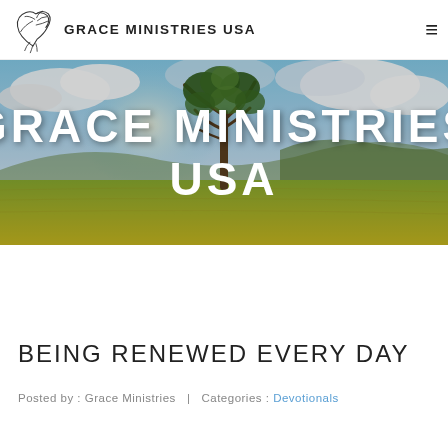GRACE MINISTRIES USA
[Figure (photo): Scenic landscape photo with a lone tree in a golden field under a dramatic blue sky with clouds, overlaid with large white text reading GRACE MINISTRIES USA]
BEING RENEWED EVERY DAY
Posted by: Grace Ministries | Categories: Devotionals